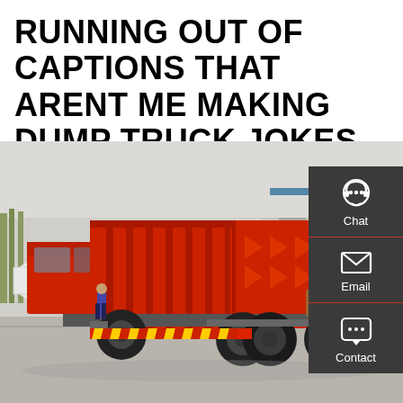RUNNING OUT OF CAPTIONS THAT ARENT ME MAKING DUMP TRUCK JOKES
[Figure (photo): Red dump truck photographed from the rear-left angle in an industrial yard. The truck has a large red metal dump bed with vertical ribbing and arrow-shaped pressed patterns. Six large black wheels visible. A person stands near the cab. White/grey tanks and buildings visible in the background. Yellow and red reflective chevron strip on the rear bumper.]
Chat
Email
Contact